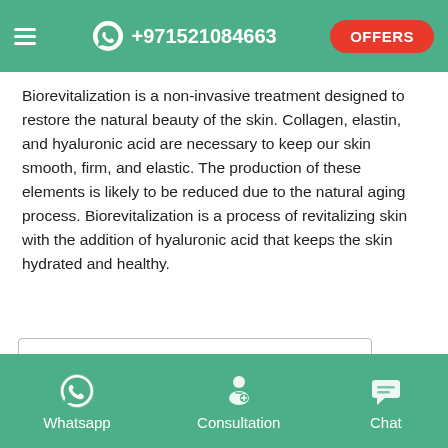≡  +971521084663  OFFERS
Biorevitalization is a non-invasive treatment designed to restore the natural beauty of the skin. Collagen, elastin, and hyaluronic acid are necessary to keep our skin smooth, firm, and elastic. The production of these elements is likely to be reduced due to the natural aging process. Biorevitalization is a process of revitalizing skin with the addition of hyaluronic acid that keeps the skin hydrated and healthy.
| Table of Contents |
| --- |
Whatsapp  Consultation  Chat